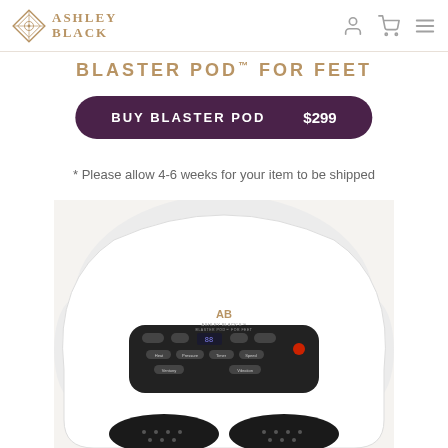Ashley Black
BLASTER POD™ FOR FEET
BUY BLASTER POD   $299
* Please allow 4-6 weeks for your item to be shipped
[Figure (photo): Ashley Black Blaster Pod for Feet product device, white rounded unit with black control panel showing buttons for Heat, Pressure, Timer, Speed, Ventury, Vibration and a digital display, with two foot openings visible at the bottom]